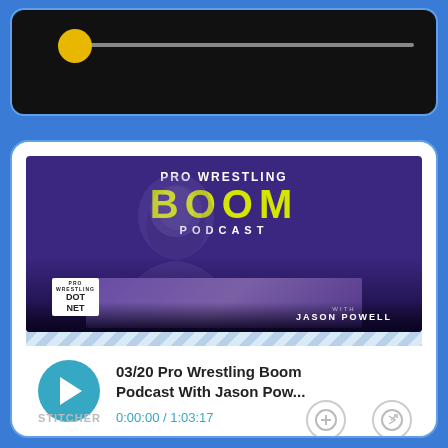[Figure (screenshot): Media player top bar with black background, golden/yellow circular scrubber knob on the far left of a grey progress track]
[Figure (screenshot): Pro Wrestling Boom Podcast card showing purple podcast cover art with 'PRO WRESTLING BOOM PODCAST with Jason Powell' text and a striped separator, play button, episode title '03/20 Pro Wrestling Boom Podcast With Jason Pow...', timestamp '0:00:00 / 1:03:17', and STITCHER label]